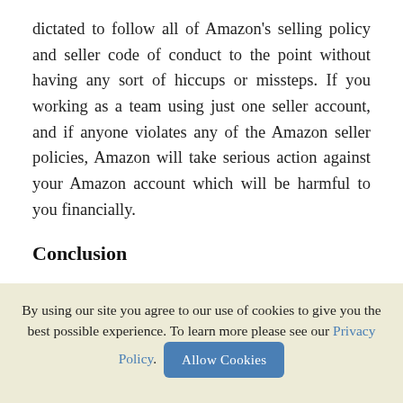dictated to follow all of Amazon's selling policy and seller code of conduct to the point without having any sort of hiccups or missteps. If you working as a team using just one seller account, and if anyone violates any of the Amazon seller policies, Amazon will take serious action against your Amazon account which will be harmful to you financially.
Conclusion
You can easily become a top seller on Amazon
By using our site you agree to our use of cookies to give you the best possible experience. To learn more please see our Privacy Policy.  Allow Cookies